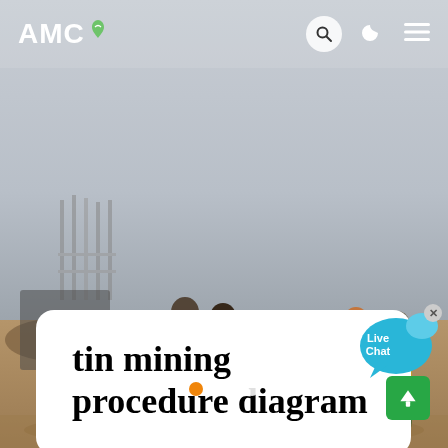[Figure (photo): Construction/mining site background photo showing workers standing in front of mining equipment on a sandy outdoor site with steel rebar structures in background and hazy sky.]
AMC  [search icon] [moon icon] [menu icon]
tin mining procedure diagram
[Figure (other): Live Chat speech bubble widget with cyan/blue color and close X button]
[Figure (other): Slider navigation dots: first dot active (orange), second and third dots inactive (white)]
[Figure (other): Green scroll-to-top button with up arrow at bottom right]